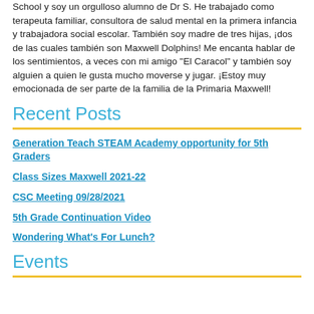School y soy un orgulloso alumno de Dr S. He trabajado como terapeuta familiar, consultora de salud mental en la primera infancia y trabajadora social escolar. También soy madre de tres hijas, ¡dos de las cuales también son Maxwell Dolphins! Me encanta hablar de los sentimientos, a veces con mi amigo "El Caracol" y también soy alguien a quien le gusta mucho moverse y jugar. ¡Estoy muy emocionada de ser parte de la familia de la Primaria Maxwell!
Recent Posts
Generation Teach STEAM Academy opportunity for 5th Graders
Class Sizes Maxwell 2021-22
CSC Meeting 09/28/2021
5th Grade Continuation Video
Wondering What's For Lunch?
Events